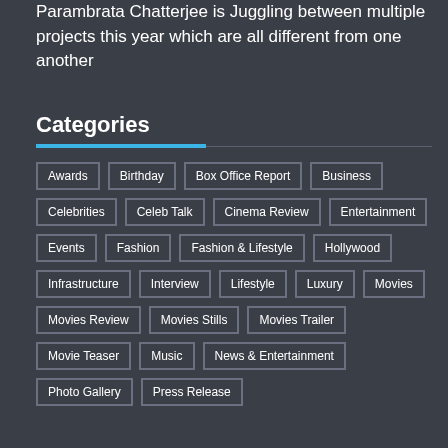Parambrata Chatterjee is Juggling between multiple projects this year which are all different from one another
Categories
Awards
Birthday
Box Office Report
Business
Celebrities
Celeb Talk
Cinema Review
Entertainment
Events
Fashion
Fashion & Lifestyle
Hollywood
Infrastructure
Interview
Lifestyle
Luxury
Movies
Movies Review
Movies Stills
Movies Trailer
Movie Teaser
Music
News & Entertainment
Photo Gallery
Press Release